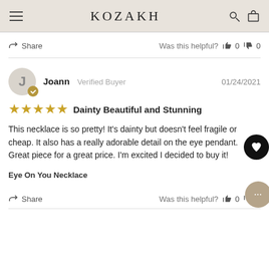KOZAKH
Share   Was this helpful?  👍 0  👎 0
Joann  Verified Buyer    01/24/2021
★★★★★  Dainty Beautiful and Stunning
This necklace is so pretty! It's dainty but doesn't feel fragile or cheap. It also has a really adorable detail on the eye pendant. Great piece for a great price. I'm excited I decided to buy it!
Eye On You Necklace
Share   Was this helpful?  👍 0  👎 0